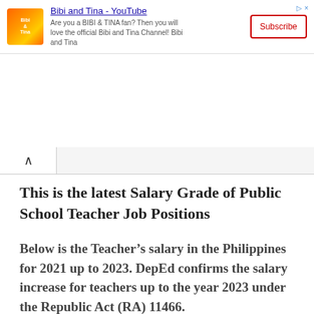[Figure (other): Advertisement banner for Bibi and Tina YouTube channel with logo, description text, and Subscribe button]
This is the latest Salary Grade of Public School Teacher Job Positions
Below is the Teacher’s salary in the Philippines for 2021 up to 2023. DepEd confirms the salary increase for teachers up to the year 2023 under the Republic Act (RA) 11466.